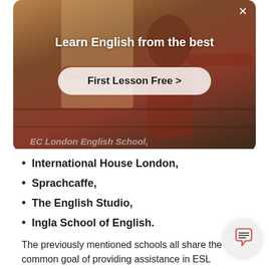[Figure (screenshot): Video overlay popup with dark warm-toned background showing a person in a room. Contains bold white title text 'Learn English from the best', a white rounded-rectangle button 'First Lesson Free >', and a close X button in the upper right. Partially visible italic text at the bottom of the overlay reads 'EC London English School,']
EC London English School,
International House London,
Sprachcaffe,
The English Studio,
Ingla School of English.
The previously mentioned schools all share the common goal of providing assistance in ESL